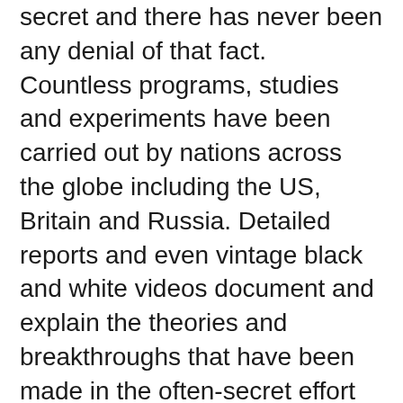secret and there has never been any denial of that fact. Countless programs, studies and experiments have been carried out by nations across the globe including the US, Britain and Russia. Detailed reports and even vintage black and white videos document and explain the theories and breakthroughs that have been made in the often-secret effort to control the world's weather.
With two record-setting hurricanes striking the United States in rapid succession this month, some fear the US is being attacked with weather warfare. Two videos making the rounds explain